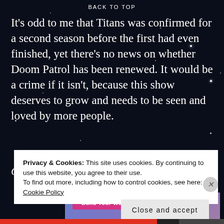BACK TO TOP
It's odd to me that Titans was confirmed for a second season before the first had even finished, yet there's no news on whether Doom Patrol has been renewed. It would be a crime if it isn't, because this show deserves to grow and needs to be seen and loved by more people.
Conclusion
[Figure (screenshot): Website builder advertisement showing 'Build Your Website' button and decorative pillar graphic with blue-purple gradient background]
Privacy & Cookies: This site uses cookies. By continuing to use this website, you agree to their use. To find out more, including how to control cookies, see here: Cookie Policy
Close and accept